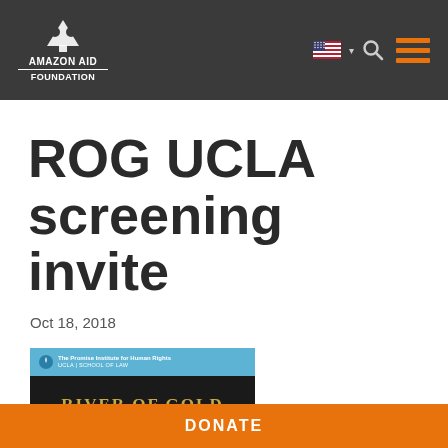AMAZON AID FOUNDATION
ROG UCLA screening invite
Oct 18, 2018
[Figure (photo): River of Gold event poster showing 'The Promise Institute for Human Rights, UCLA School of Law' blue banner and 'RIVER OF GOLD' text in gold on dark background]
DONATE